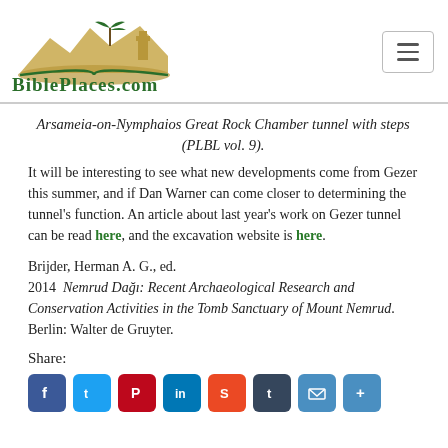BiblePlaces.com
Arsameia-on-Nymphaios Great Rock Chamber tunnel with steps (PLBL vol. 9).
It will be interesting to see what new developments come from Gezer this summer, and if Dan Warner can come closer to determining the tunnel’s function. An article about last year’s work on Gezer tunnel can be read here, and the excavation website is here.
Brijder, Herman A. G., ed.
2014  Nemrud Dağı: Recent Archaeological Research and Conservation Activities in the Tomb Sanctuary of Mount Nemrud. Berlin: Walter de Gruyter.
Share:
[Figure (other): Social media sharing icons: Facebook, Twitter, Pinterest, LinkedIn, StumbleUpon, Tumblr, Email, and another sharing button]